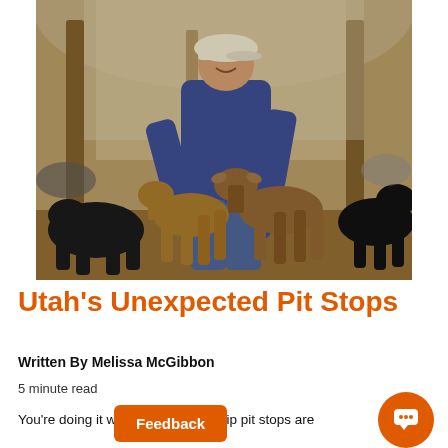[Figure (photo): An older man in a navy blue fleece and a white cap bends down to pet several goats inside a rustic barn or pen with wooden posts and a greenhouse-style roof. Multiple goats of various colors (black, brown, tan) surround him.]
Utah's Unexpected Pit Stops
Written By Melissa McGibbon
5 minute read
You're doing it wrong if your road trip pit stops are